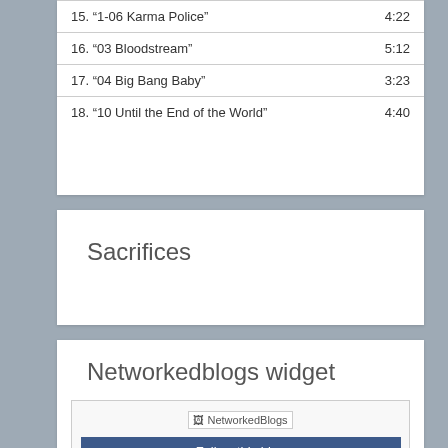| Track | Duration |
| --- | --- |
| 15. “1-06 Karma Police” | 4:22 |
| 16. “03 Bloodstream” | 5:12 |
| 17. “04 Big Bang Baby” | 3:23 |
| 18. “10 Until the End of the World” | 4:40 |
Sacrifices
Networkedblogs widget
[Figure (other): NetworkedBlogs widget with logo placeholder and 'Follow this blog' button]